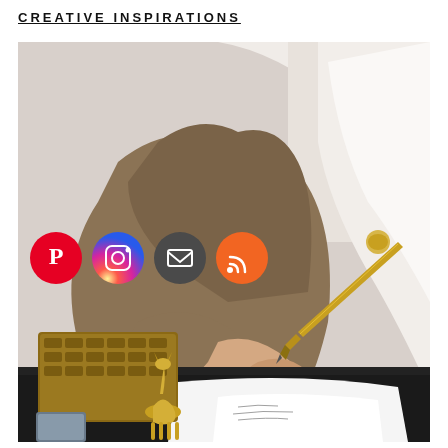CREATIVE INSPIRATIONS
[Figure (photo): Woman writing on paper at a black desk with a gold pen, wearing rings and dark nail polish, with a wood keyboard, gold decorative deer figurine, and social media icons (Pinterest, Instagram, Email, RSS) overlaid on the left side]